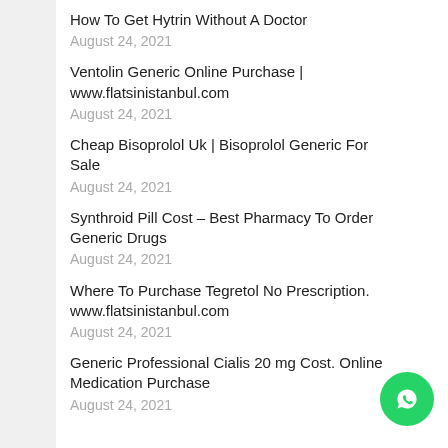How To Get Hytrin Without A Doctor
August 24, 2021
Ventolin Generic Online Purchase | www.flatsinistanbul.com
August 24, 2021
Cheap Bisoprolol Uk | Bisoprolol Generic For Sale
August 24, 2021
Synthroid Pill Cost – Best Pharmacy To Order Generic Drugs
August 24, 2021
Where To Purchase Tegretol No Prescription. www.flatsinistanbul.com
August 24, 2021
Generic Professional Cialis 20 mg Cost. Online Medication Purchase
August 24, 2021